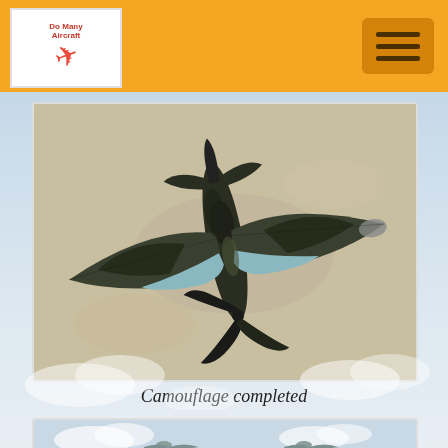Do Many Aircraft (logo with hamburger menu)
[Figure (photo): Scale model of a WWII Spitfire aircraft with dark olive green and light blue camouflage paint scheme, viewed from above, lying on a beige/sandy surface. Three-bladed propeller visible at top, elliptical wings spread wide.]
Camouflage completed
[Figure (photo): Partial view of scale model aircraft against a sky background with clouds, showing the front portion of the aircraft in light grey-blue paint.]